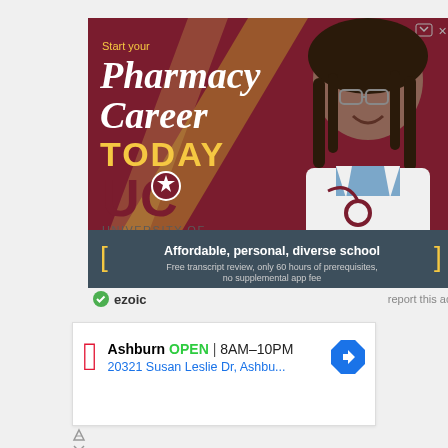[Figure (illustration): University of Charleston School of Pharmacy advertisement. Dark red/maroon background with diagonal gold accent. White italic text reads 'Start your Pharmacy Career TODAY' in gold. UC logo with star. Photo of smiling man with dreadlocks wearing white lab coat and stethoscope. Dark teal bottom banner reads 'Affordable, personal, diverse school. Free transcript review, only 60 hours of prerequisites, no supplemental app fee' with bracket decorations.]
ezoic   report this ad
[Figure (illustration): Walgreens ad showing red cursive W logo, text 'Ashburn OPEN | 8AM-10PM' and address '20321 Susan Leslie Dr, Ashbu...' with blue navigation arrow icon.]